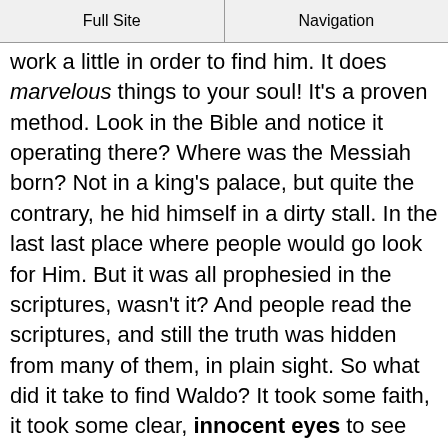Full Site | Navigation
work a little in order to find him. It does marvelous things to your soul! It's a proven method. Look in the Bible and notice it operating there? Where was the Messiah born? Not in a king's palace, but quite the contrary, he hid himself in a dirty stall. In the last last place where people would go look for Him. But it was all prophesied in the scriptures, wasn't it? And people read the scriptures, and still the truth was hidden from many of them, in plain sight. So what did it take to find Waldo? It took some faith, it took some clear, innocent eyes to see Waldo in that situation. It took some courage too! Because when you ask yourself, "where is Waldo?" the truth is that he's usually not where everyone expects him to be.